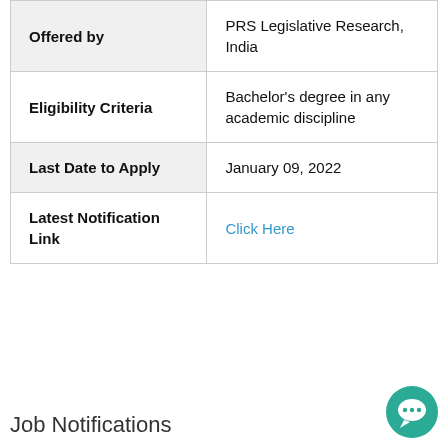| Offered by | PRS Legislative Research, India |
| Eligibility Criteria | Bachelor's degree in any academic discipline |
| Last Date to Apply | January 09, 2022 |
| Latest Notification Link | Click Here |
Job Notifications